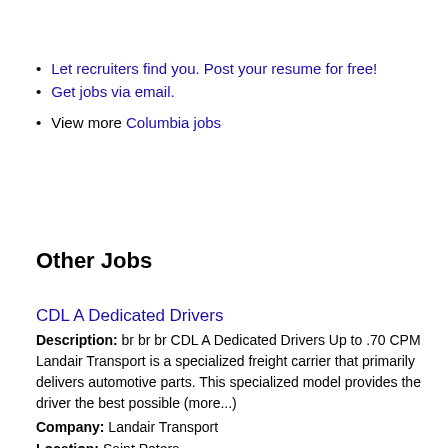Let recruiters find you. Post your resume for free!
Get jobs via email.
View more Columbia jobs
Other Jobs
CDL A Dedicated Drivers
Description: br br br CDL A Dedicated Drivers Up to .70 CPM Landair Transport is a specialized freight carrier that primarily delivers automotive parts. This specialized model provides the driver the best possible (more...)
Company: Landair Transport
Location: Saint Peters